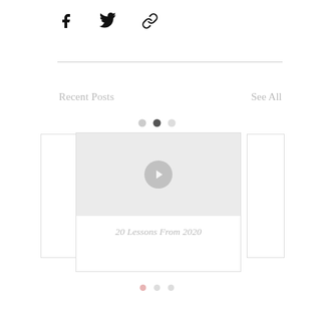[Figure (other): Social share icons: Facebook, Twitter, and link/copy icons in a row]
Recent Posts
See All
[Figure (other): Carousel navigation dots: three dots with middle dot active (dark)]
[Figure (other): Blog post card showing a video thumbnail with play button and title '20 Lessons From 2020', with partial side cards visible]
20 Lessons From 2020
[Figure (other): Bottom pagination dots: three dots, first one pink/rose colored]